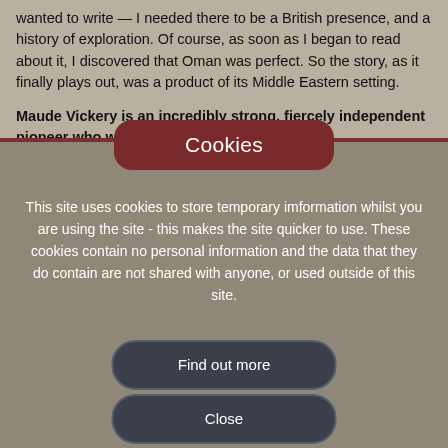wanted to write — I needed there to be a British presence, and a history of exploration. Of course, as soon as I began to read about it, I discovered that Oman was perfect. So the story, as it finally plays out, was a product of its Middle Eastern setting.
Maude Vickery is an incredibly strong, fiercely independent pioneer who was an inspiration to Joan. Was
Cookies
This site uses cookies to store temporary imformation whilst you are using the site - this makes the site quicker to use. These cookies contain no personal information and the data that they do contain are not shared with anyone, or used outside of this site.
Find out more
Close